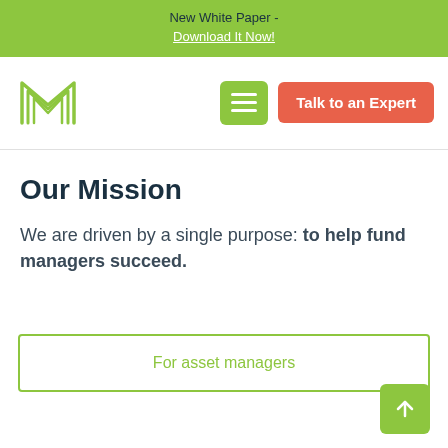New White Paper - Download It Now!
[Figure (logo): Company logo with stylized M/forward arrows in green outline]
Our Mission
We are driven by a single purpose: to help fund managers succeed.
For asset managers